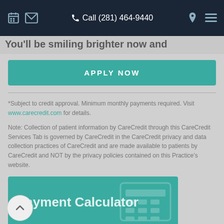Call (281) 464-9440
You'll be smiling brighter now and
APPLY NOW
*Subject to credit approval. Minimum monthly payments required. Visit www.carecredit.com for details.
Note: Collection of patient information by CareCredit through this CareCredit Services Tab is governed by CareCredit in the CareCredit privacy and data collection practices of CareCredit and are made available to patients by CareCredit and NOT by the privacy policies contained on this Practice’s website.
[Figure (screenshot): Payment Calculator widget with teal header showing 'Payment Calculator' text over a calculator background image, and a form field below labeled 'ESTIMATED PROCEDURE AMOUNT' with a dollar sign input]
ESTIMATED PROCEDURE AMOUNT
$